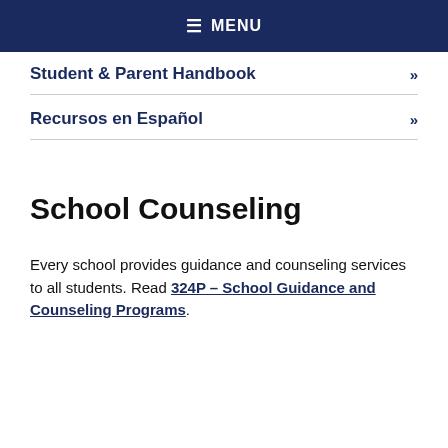≡ MENU
Student & Parent Handbook »
Recursos en Español »
School Counseling
Every school provides guidance and counseling services to all students. Read 324P – School Guidance and Counseling Programs.